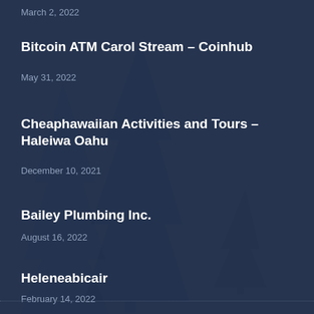March 2, 2022
Bitcoin ATM Carol Stream – Coinhub
May 31, 2022
Cheaphawaiian Activities and Tours – Haleiwa Oahu
December 10, 2021
Bailey Plumbing Inc.
August 16, 2022
Heleneabicair
February 14, 2022